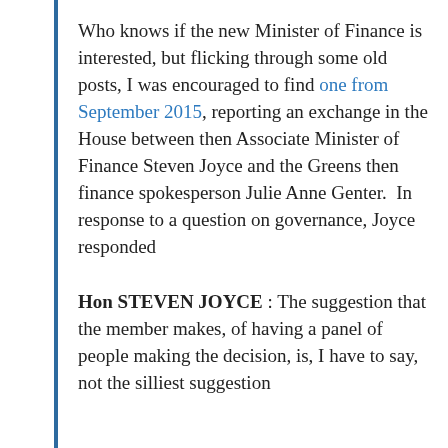Who knows if the new Minister of Finance is interested, but flicking through some old posts, I was encouraged to find one from September 2015, reporting an exchange in the House between then Associate Minister of Finance Steven Joyce and the Greens then finance spokesperson Julie Anne Genter.  In response to a question on governance, Joyce responded
Hon STEVEN JOYCE : The suggestion that the member makes, of having a panel of people making the decision, is, I have to say, not the silliest suggestion